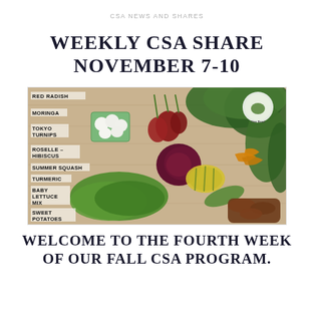CSA NEWS AND SHARES
WEEKLY CSA SHARE NOVEMBER 7-10
[Figure (photo): Overhead flat-lay photo of CSA share vegetables on a wooden board including red radish, moringa, tokyo turnips, roselle hibiscus, summer squash, turmeric, baby lettuce mix, and sweet potatoes with text labels on the left side and a farm logo in the upper right corner.]
WELCOME TO THE FOURTH WEEK OF OUR FALL CSA PROGRAM.